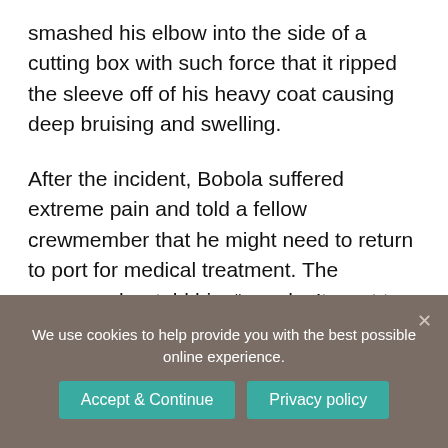smashed his elbow into the side of a cutting box with such force that it ripped the sleeve off of his heavy coat causing deep bruising and swelling.
After the incident, Bobola suffered extreme pain and told a fellow crewmember that he might need to return to port for medical treatment. The crewmember told him “you don’t want to do that” and reported to the
We use cookies to help provide you with the best possible online experience.
Accept & Continue
Privacy policy